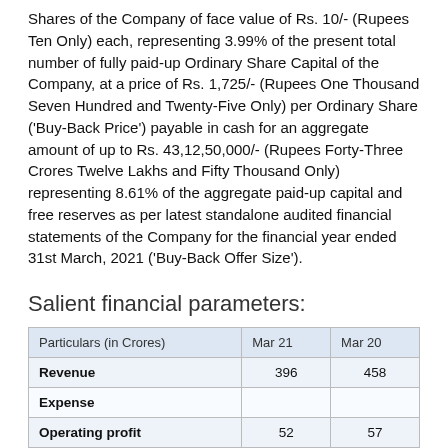Shares of the Company of face value of Rs. 10/- (Rupees Ten Only) each, representing 3.99% of the present total number of fully paid-up Ordinary Share Capital of the Company, at a price of Rs. 1,725/- (Rupees One Thousand Seven Hundred and Twenty-Five Only) per Ordinary Share ('Buy-Back Price') payable in cash for an aggregate amount of up to Rs. 43,12,50,000/- (Rupees Forty-Three Crores Twelve Lakhs and Fifty Thousand Only) representing 8.61% of the aggregate paid-up capital and free reserves as per latest standalone audited financial statements of the Company for the financial year ended 31st March, 2021 ('Buy-Back Offer Size').
Salient financial parameters:
| Particulars (in Crores) | Mar 21 | Mar 20 |
| --- | --- | --- |
| Revenue | 396 | 458 |
| Expense |  |  |
| Operating profit | 52 | 57 |